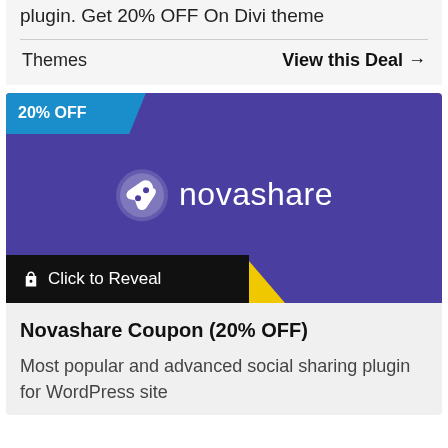plugin. Get 20% OFF On Divi theme
Themes
View this Deal →
[Figure (screenshot): Novashare coupon banner with purple background, '20% OFF' blue badge in top-left corner, Novashare logo in white (rocket icon + text), and a black 'Click to Reveal' bar at the bottom with a yellow triangle accent.]
Novashare Coupon (20% OFF)
Most popular and advanced social sharing plugin for WordPress site